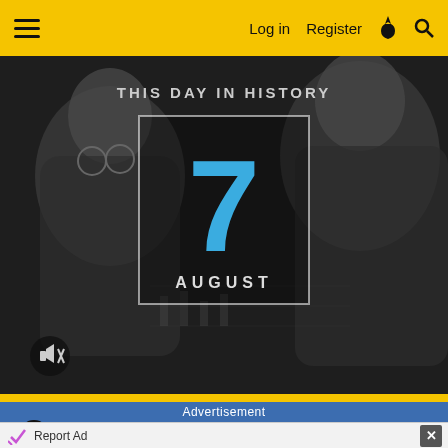Log in  Register
[Figure (screenshot): This Day in History hero image showing '7 August' with a large blue number 7 inside a white-bordered box, overlaid on a dark grayscale background with silhouettes of people smiling. A mute button is in the bottom-left corner.]
Advertisement
Report Ad
Back To School Shopping Deals
Leesburg Premium Outlets